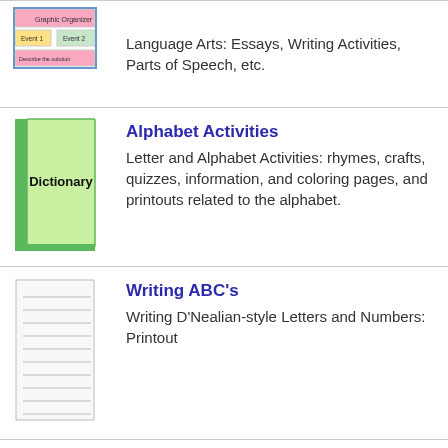[Figure (illustration): Small graphic showing language arts / graphic organizer diagram with Event 1, Event 2 and 'Describe the solution' boxes]
Language Arts: Essays, Writing Activities, Parts of Speech, etc.
[Figure (illustration): Green dictionary book illustration with 'Dictionary' written on the cover]
Alphabet Activities
Letter and Alphabet Activities: rhymes, crafts, quizzes, information, and coloring pages, and printouts related to the alphabet.
[Figure (illustration): Lined paper / writing paper illustration]
Writing ABC's
Writing D'Nealian-style Letters and Numbers: Printout
Other Links:
Page of the Day